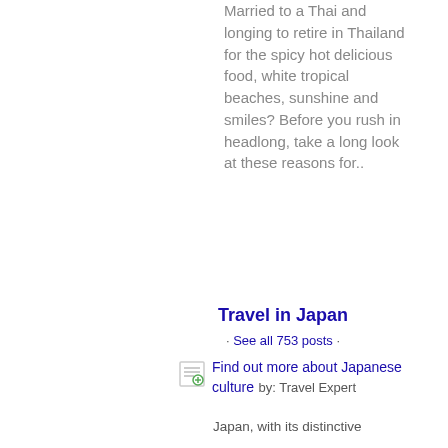Married to a Thai and longing to retire in Thailand for the spicy hot delicious food, white tropical beaches, sunshine and smiles? Before you rush in headlong, take a long look at these reasons for..
Travel in Japan
· See all 753 posts ·
Find out more about Japanese culture  by: Travel Expert
Japan, with its distinctive